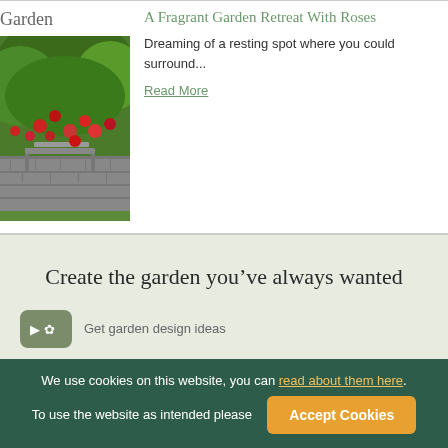Garden
[Figure (photo): Garden scene with red roses climbing a stone wall, bench visible]
A Fragrant Garden Retreat With Roses
Dreaming of a resting spot where you could surround...
Read More
Create the garden you've always wanted
Get garden design ideas
We use cookies on this website, you can read about them here. To use the website as intended please Accept Cookies